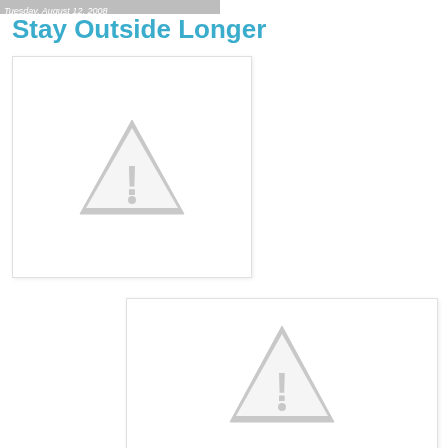Tuesday, August 12, 2008
Stay Outside Longer
[Figure (other): Placeholder image box with grey warning/broken image triangle icon]
[Figure (other): Placeholder image box with grey warning/broken image triangle icon]